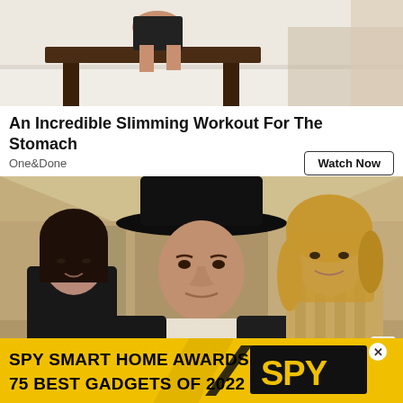[Figure (photo): Top portion of advertisement showing a person doing a workout on or near a dark wooden table on a tile floor background]
An Incredible Slimming Workout For The Stomach
One&Done
Watch Now
[Figure (photo): A man wearing a black cowboy hat in a dark suit with a white shirt, walking forward in a hallway, flanked by two women — a dark-haired woman on the left and a blonde woman on the right (scene from the TV show Yellowstone)]
[Figure (infographic): SPY Smart Home Awards advertisement banner: yellow background with text SPY SMART HOME AWARDS / 75 BEST GADGETS OF 2022 and SPY logo in black box with yellow text]